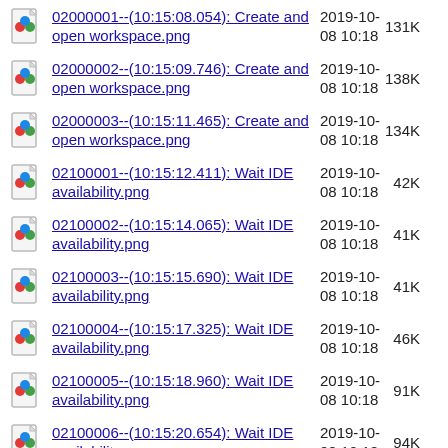02000001--(10:15:08.054): Create and open workspace.png  2019-10-08 10:18  131K
02000002--(10:15:09.746): Create and open workspace.png  2019-10-08 10:18  138K
02000003--(10:15:11.465): Create and open workspace.png  2019-10-08 10:18  134K
02100001--(10:15:12.411): Wait IDE availability.png  2019-10-08 10:18  42K
02100002--(10:15:14.065): Wait IDE availability.png  2019-10-08 10:18  41K
02100003--(10:15:15.690): Wait IDE availability.png  2019-10-08 10:18  41K
02100004--(10:15:17.325): Wait IDE availability.png  2019-10-08 10:18  46K
02100005--(10:15:18.960): Wait IDE availability.png  2019-10-08 10:18  91K
02100006--(10:15:20.654): Wait IDE availability.png  2019-10-08 10:18  94K
02100007--(10:15:22.307): Wait IDE availability.png  2019-10-08 10:18  94K